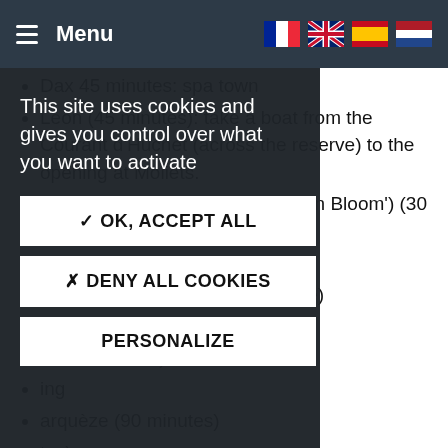Menu
Dax 45 minutes: spa town
Leon (45 minutes): take a boat from the Courant d'Huchet (across the reserve) to the opening at Moliets.
Ainhoa, a 'village fleuri' ('Village in Bloom') (30 minutes)
Arcangues (25 minutes)
The Basque Museum (Bayonne) [partially obscured]
...aritime Museum [partially obscured]
...oo 25 minutes) [partially obscured]
...ing [partially obscured]
...arquèze (90 minutes) [partially obscured, red text]
...tes) [partially obscured]
This site uses cookies and gives you control over what you want to activate
✓ OK, ACCEPT ALL
✗ DENY ALL COOKIES
PERSONALIZE